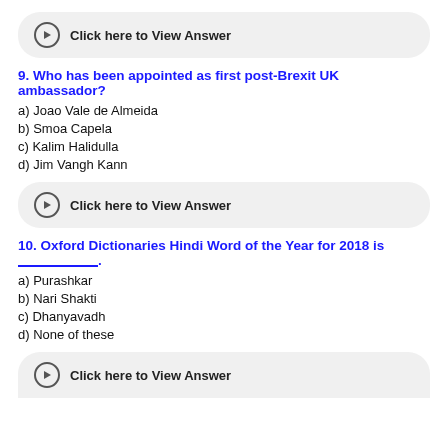Click here to View Answer
9. Who has been appointed as first post-Brexit UK ambassador?
a) Joao Vale de Almeida
b) Smoa Capela
c) Kalim Halidulla
d) Jim Vangh Kann
Click here to View Answer
10. Oxford Dictionaries Hindi Word of the Year for 2018 is _________.
a) Purashkar
b) Nari Shakti
c) Dhanyavadh
d) None of these
Click here to View Answer